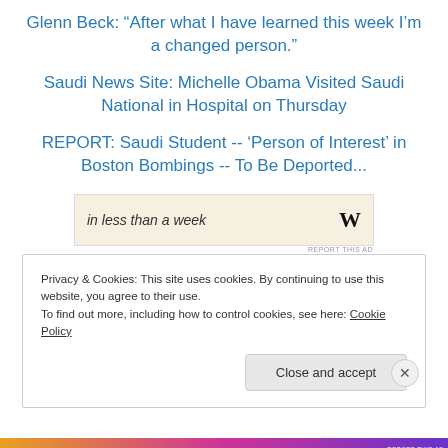Glenn Beck: “After what I have learned this week I’m a changed person.”
Saudi News Site: Michelle Obama Visited Saudi National in Hospital on Thursday
REPORT: Saudi Student -- ‘Person of Interest’ in Boston Bombings -- To Be Deported...
[Figure (other): Advertisement banner: text 'in less than a week' with W logo on beige background]
Privacy & Cookies: This site uses cookies. By continuing to use this website, you agree to their use. To find out more, including how to control cookies, see here: Cookie Policy
Close and accept